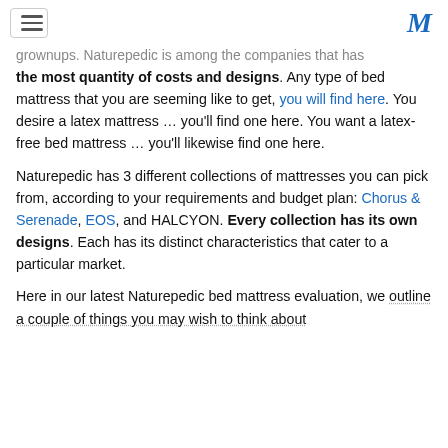[hamburger menu] [M logo]
grownups. Naturepedic is among the companies that has the most quantity of costs and designs. Any type of bed mattress that you are seeming like to get, you will find here. You desire a latex mattress … you'll find one here. You want a latex-free bed mattress … you'll likewise find one here.
Naturepedic has 3 different collections of mattresses you can pick from, according to your requirements and budget plan: Chorus & Serenade, EOS, and HALCYON. Every collection has its own designs. Each has its distinct characteristics that cater to a particular market.
Here in our latest Naturepedic bed mattress evaluation, we outline a couple of things you may wish to think about